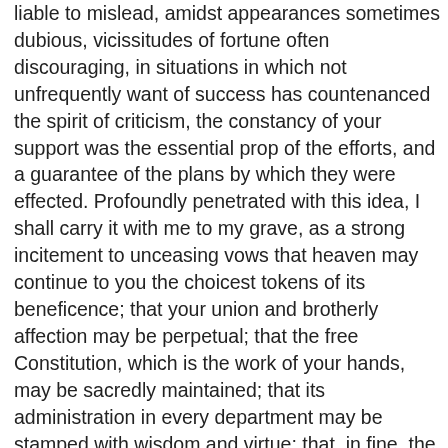liable to mislead, amidst appearances sometimes dubious, vicissitudes of fortune often discouraging, in situations in which not unfrequently want of success has countenanced the spirit of criticism, the constancy of your support was the essential prop of the efforts, and a guarantee of the plans by which they were effected. Profoundly penetrated with this idea, I shall carry it with me to my grave, as a strong incitement to unceasing vows that heaven may continue to you the choicest tokens of its beneficence; that your union and brotherly affection may be perpetual; that the free Constitution, which is the work of your hands, may be sacredly maintained; that its administration in every department may be stamped with wisdom and virtue; that, in fine, the happiness of the people of these States, under the auspices of liberty, may be made complete by so careful a preservation and so prudent